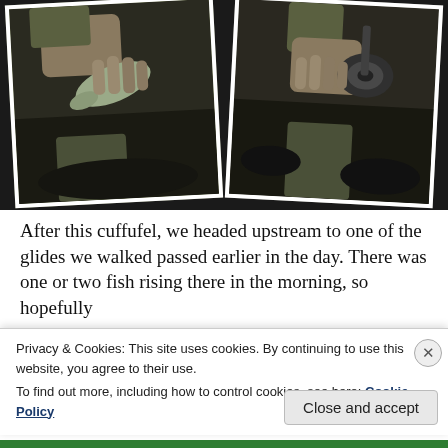[Figure (photo): Two polaroid-style photos arranged in a collage on a dark background. Both photos show close-up views of hands holding fish, with waders and rocky/muddy ground visible.]
After this cuffufel, we headed upstream to one of the glides we walked passed earlier in the day. There was one or two fish rising there in the morning, so hopefully
Privacy & Cookies: This site uses cookies. By continuing to use this website, you agree to their use.
To find out more, including how to control cookies, see here: Cookie Policy